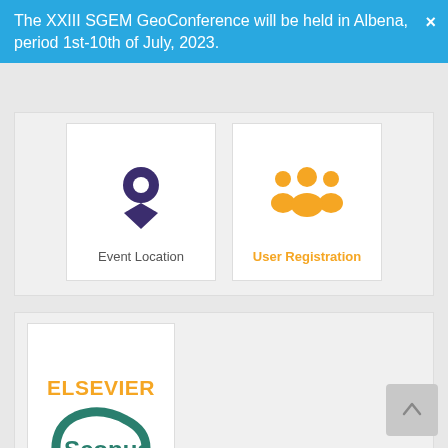The XXIII SGEM GeoConference will be held in Albena, period 1st-10th of July, 2023.
[Figure (illustration): Event Location card with a dark purple map pin icon and label 'Event Location']
[Figure (illustration): User Registration card with an orange group/people icon and label 'User Registration' in orange]
[Figure (logo): Elsevier Scopus logo — 'ELSEVIER' in orange bold text above 'Scopus' in teal with a curved arc graphic]